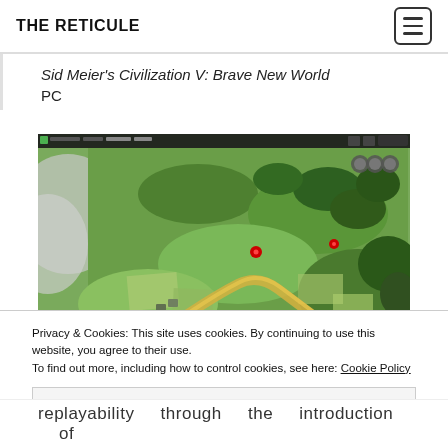THE RETICULE
Sid Meier's Civilization V: Brave New World
PC
[Figure (screenshot): Aerial isometric view of Civilization V: Brave New World gameplay showing green terrain with forests, fields, military units, settlements, and a yellow road/river path. Red circular markers visible on the map. HUD elements at top.]
Privacy & Cookies: This site uses cookies. By continuing to use this website, you agree to their use.
To find out more, including how to control cookies, see here: Cookie Policy
Close and accept
replayability through the introduction of